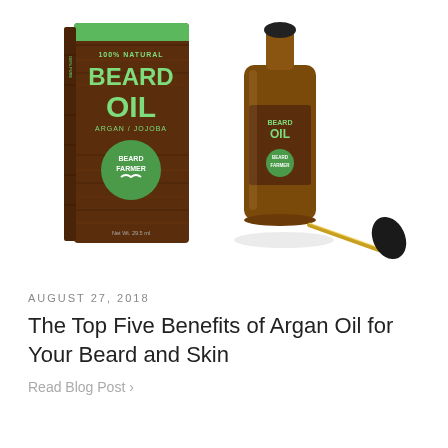[Figure (photo): Product photo of Beard Farmer 100% Natural Beard Oil (Argan/Jojoba) showing a dark brown wooden-texture box/packaging on the left and an amber glass dropper bottle with the cap/dropper removed and laid in front on the right, on a white background.]
AUGUST 27, 2018
The Top Five Benefits of Argan Oil for Your Beard and Skin
Read Blog Post ›